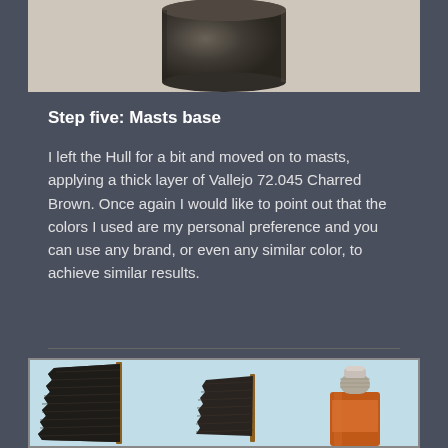[Figure (photo): A dark cylindrical object (painted model part) photographed against a light background, showing a dark charcoal/brown painted hull piece.]
Step five: Masts base
I left the Hull for a bit and moved on to masts, applying a thick layer of Vallejo 72.045 Charred Brown. Once again I would like to point out that the colors I used are my personal preference and you can use any brand, or even any similar color, to achieve similar results.
[Figure (photo): Two dark painted sail/mast model pieces standing upright against a light blue background, alongside an orange Vallejo paint bottle.]